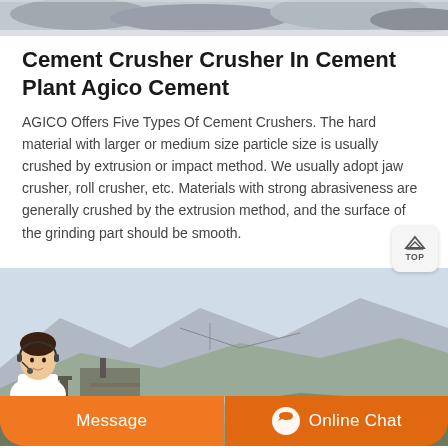[Figure (photo): Top partial image of crushed stone/cement materials, cropped at top]
Cement Crusher Crusher In Cement Plant Agico Cement
AGICO Offers Five Types Of Cement Crushers. The hard material with larger or medium size particle size is usually crushed by extrusion or impact method. We usually adopt jaw crusher, roll crusher, etc. Materials with strong abrasiveness are generally crushed by the extrusion method, and the surface of the grinding part should be smooth.
[Figure (photo): Bottom image showing an industrial cement crushing site with mountains and machinery in background, with an orange Message and Online Chat bar at the bottom featuring a customer service representative avatar]